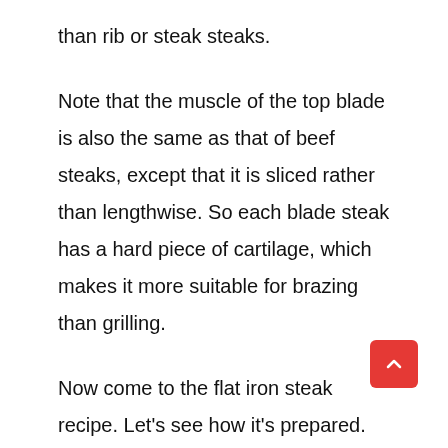than rib or steak steaks.
Note that the muscle of the top blade is also the same as that of beef steaks, except that it is sliced rather than lengthwise. So each blade steak has a hard piece of cartilage, which makes it more suitable for brazing than grilling.
Now come to the flat iron steak recipe. Let’s see how it’s prepared.
Ingredients